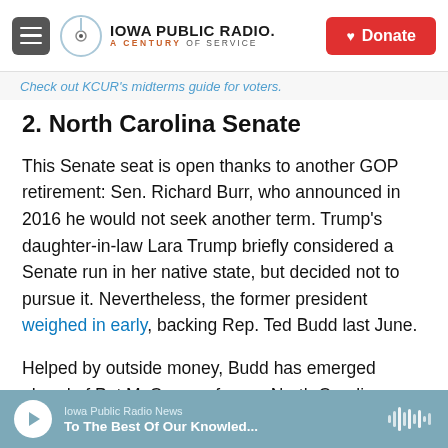Iowa Public Radio. A Century of Service | Donate
Check out KCUR's midterms guide for voters
2. North Carolina Senate
This Senate seat is open thanks to another GOP retirement: Sen. Richard Burr, who announced in 2016 he would not seek another term. Trump's daughter-in-law Lara Trump briefly considered a Senate run in her native state, but decided not to pursue it. Nevertheless, the former president weighed in early, backing Rep. Ted Budd last June.
Helped by outside money, Budd has emerged ahead of Pat McCrory, a former North Carolina
Iowa Public Radio News | To The Best Of Our Knowled...